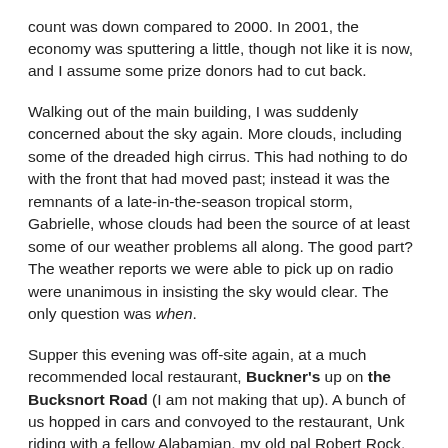count was down compared to 2000. In 2001, the economy was sputtering a little, though not like it is now, and I assume some prize donors had to cut back.
Walking out of the main building, I was suddenly concerned about the sky again. More clouds, including some of the dreaded high cirrus. This had nothing to do with the front that had moved past; instead it was the remnants of a late-in-the-season tropical storm, Gabrielle, whose clouds had been the source of at least some of our weather problems all along. The good part? The weather reports we were able to pick up on radio were unanimous in insisting the sky would clear. The only question was when.
Supper this evening was off-site again, at a much recommended local restaurant, Buckner's up on the Bucksnort Road (I am not making that up). A bunch of us hopped in cars and convoyed to the restaurant, Unk riding with a fellow Alabamian, my old pal Robert Rock. What did we find when we got there? A clean little restaurant combined with a bluegrass/gospel music hall. There was a long line to get in, so us PSSGers figured we were in for a